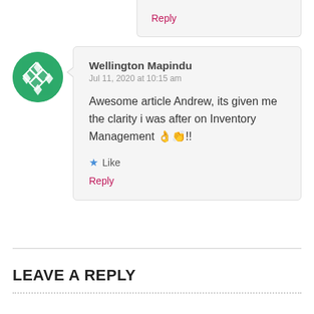Reply
Wellington Mapindu
Jul 11, 2020 at 10:15 am

Awesome article Andrew, its given me the clarity i was after on Inventory Management 👌👏!!
★ Like
Reply
LEAVE A REPLY